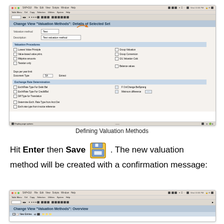[Figure (screenshot): SAP screen showing 'Change View Valuation Methods: Details of Selected Set' form with fields for Valuation method, Description, and Valuation Procedures section with checkboxes, plus Exchange Rate Determination section]
Defining Valuation Methods
Hit Enter then Save . The new valuation method will be created with a confirmation message:
[Figure (screenshot): SAP screen showing 'Change View Valuation Methods: Overview' partial view at bottom of page]